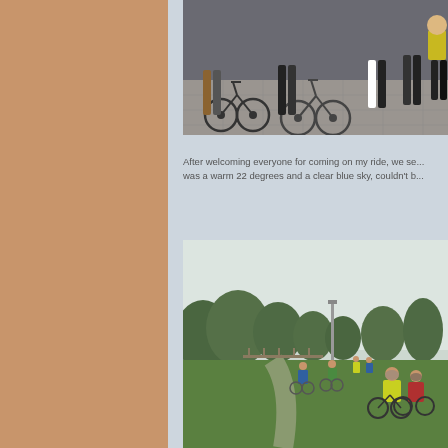[Figure (photo): Group of cyclists with bikes on a paved area, multiple people visible from waist down with bicycles in foreground]
After welcoming everyone for coming on my ride, we se... was a warm 22 degrees and a clear blue sky, couldn't b...
[Figure (photo): Cyclists riding on a grassy path through a park or open green space with trees in background, some riders in high-visibility vests]